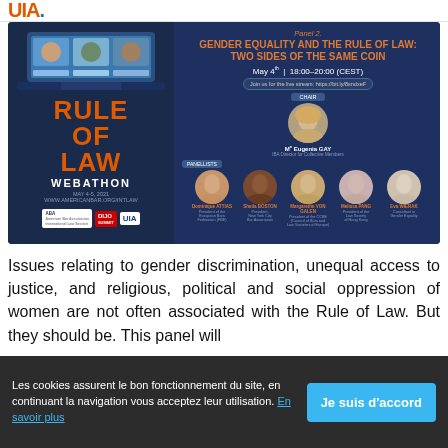UIA
[Figure (infographic): Rule of Law Webathon banner for Panel 2: Gender Equality and the Rule of Law: Two Sides of the Same Coin. May 4th 18:00-20:00 (CEST). Chair: Me Eugenia Gay. Panelists: Dominique ATTIAS, Sheila BOSTON, Margarethe VON GALEN, Melissa PANG, Eva WIERAK. Logos: ABA, DIJO, UIA.]
Issues relating to gender discrimination, unequal access to justice, and religious, political and social oppression of women are not often associated with the Rule of Law. But they should be. This panel will
Les cookies assurent le bon fonctionnement du site, en continuant la navigation vous acceptez leur utilisation. En savoir plus